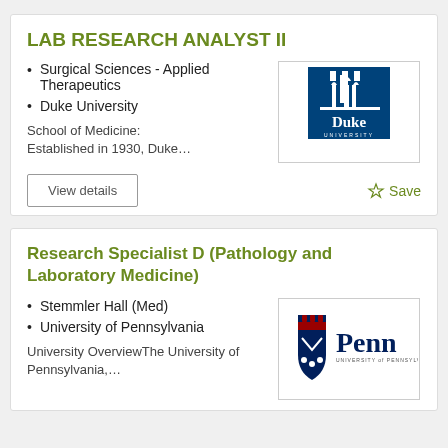LAB RESEARCH ANALYST II
Surgical Sciences - Applied Therapeutics
Duke University
School of Medicine: Established in 1930, Duke…
[Figure (logo): Duke University logo — white chapel icon on navy blue background with 'Duke University' text]
Research Specialist D (Pathology and Laboratory Medicine)
Stemmler Hall (Med)
University of Pennsylvania
University OverviewThe University of Pennsylvania,…
[Figure (logo): University of Pennsylvania Penn logo — shield with red and blue, 'Penn University of Pennsylvania' text]